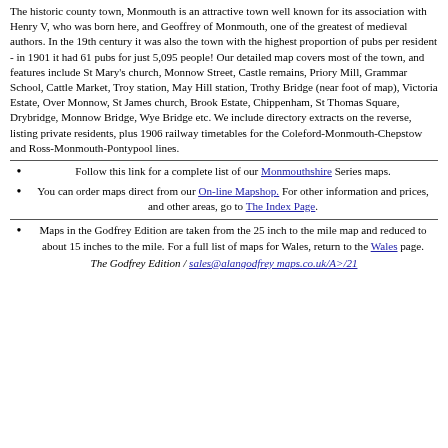The historic county town, Monmouth is an attractive town well known for its association with Henry V, who was born here, and Geoffrey of Monmouth, one of the greatest of medieval authors. In the 19th century it was also the town with the highest proportion of pubs per resident - in 1901 it had 61 pubs for just 5,095 people! Our detailed map covers most of the town, and features include St Mary's church, Monnow Street, Castle remains, Priory Mill, Grammar School, Cattle Market, Troy station, May Hill station, Trothy Bridge (near foot of map), Victoria Estate, Over Monnow, St James church, Brook Estate, Chippenham, St Thomas Square, Drybridge, Monnow Bridge, Wye Bridge etc. We include directory extracts on the reverse, listing private residents, plus 1906 railway timetables for the Coleford-Monmouth-Chepstow and Ross-Monmouth-Pontypool lines.
Follow this link for a complete list of our Monmouthshire Series maps.
You can order maps direct from our On-line Mapshop. For other information and prices, and other areas, go to The Index Page.
Maps in the Godfrey Edition are taken from the 25 inch to the mile map and reduced to about 15 inches to the mile. For a full list of maps for Wales, return to the Wales page.
The Godfrey Edition / sales@alangodfrey maps.co.uk/A>/21